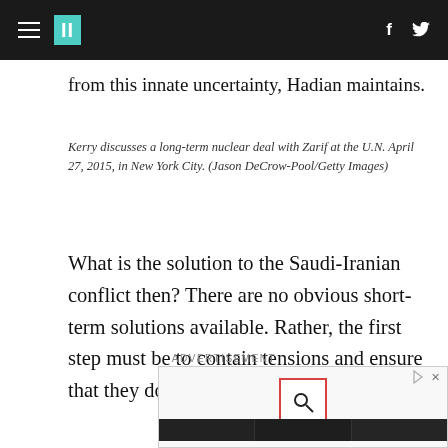HuffPost navigation bar with hamburger menu, II logo, Facebook and Twitter icons
from this innate uncertainty, Hadian maintains.
Kerry discusses a long-term nuclear deal with Zarif at the U.N. April 27, 2015, in New York City. (Jason DeCrow-Pool/Getty Images)
What is the solution to the Saudi-Iranian conflict then? There are no obvious short-term solutions available. Rather, the first step must be to contain tensions and ensure that they don't spill over into other areas.
ADVERTISEMENT